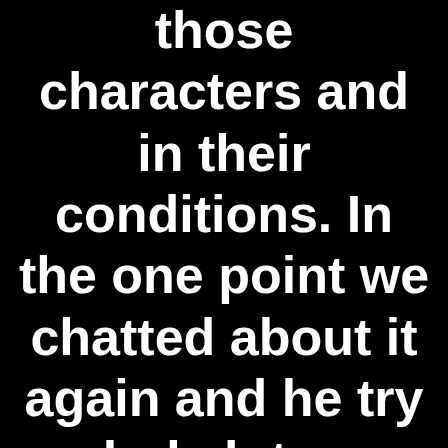those characters and in their conditions. In the one point we chatted about it again and he try a whole lot more logical towards condition- which he should conserve the cash and you may